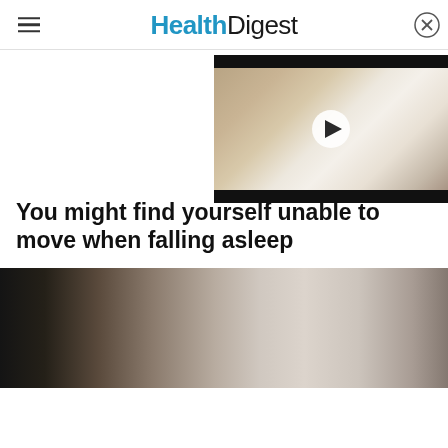HealthDigest
[Figure (photo): Video thumbnail showing a woman sleeping with an alarm clock beside her, with a play button overlay]
You might find yourself unable to move when falling asleep
[Figure (photo): Person sitting in a dim room, seen from behind, appearing distressed or hunched over]